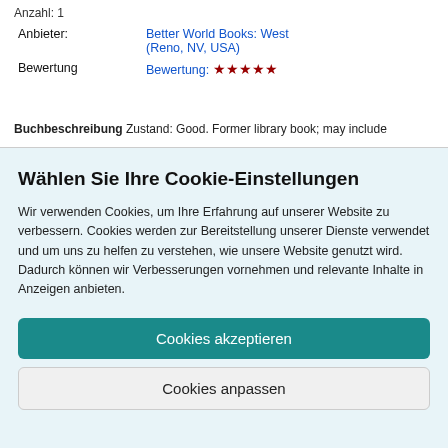Anzahl: 1
| Anbieter: | Better World Books: West (Reno, NV, USA) |
| Bewertung | Bewertung: ★★★★★ |
Buchbeschreibung Zustand: Good. Former library book; may include
Wählen Sie Ihre Cookie-Einstellungen
Wir verwenden Cookies, um Ihre Erfahrung auf unserer Website zu verbessern. Cookies werden zur Bereitstellung unserer Dienste verwendet und um uns zu helfen zu verstehen, wie unsere Website genutzt wird. Dadurch können wir Verbesserungen vornehmen und relevante Inhalte in Anzeigen anbieten.
Cookies akzeptieren
Cookies anpassen